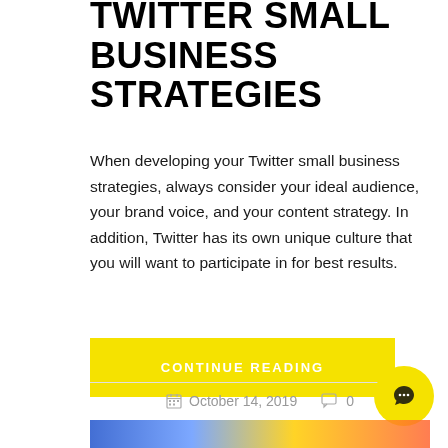TWITTER SMALL BUSINESS STRATEGIES
When developing your Twitter small business strategies, always consider your ideal audience, your brand voice, and your content strategy. In addition, Twitter has its own unique culture that you will want to participate in for best results.
CONTINUE READING
October 14, 2019   0